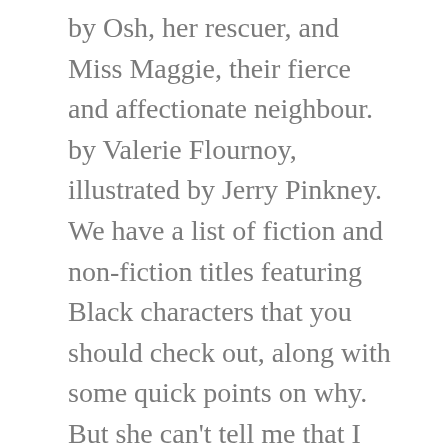by Osh, her rescuer, and Miss Maggie, their fierce and affectionate neighbour. by Valerie Flournoy, illustrated by Jerry Pinkney. We have a list of fiction and non-fiction titles featuring Black characters that you should check out, along with some quick points on why. But she can't tell me that I look up more than my big brother, Jamal, looks down at his silly phone.". Readers will love these tales packed with positive role models, from little ones eagerly awaiting new siblings to older readers enjoying adventures in Cairo and even an eye-opening tale set in 1940s America…. This system takes his main character, Cora, a woman who escaped a. Thirteen-year-old Pip has been hired as a farmhand by Mr Zachery – but Pip is black, the farmer and his wife are white, and in 1960's America, racism is rife. And not only are black, Asian and minority ethnic (BAME) authors and illustrators underrepresented in the